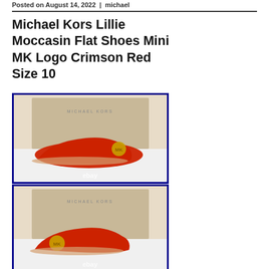Posted on August 14, 2022  |  michael
Michael Kors Lillie Moccasin Flat Shoes Mini MK Logo Crimson Red Size 10
[Figure (photo): Photo of a crimson red Michael Kors Lillie moccasin flat shoe with gold MK logo hardware, shown against Michael Kors branded box background. eBay watermark visible.]
[Figure (photo): Second photo of the same crimson red Michael Kors Lillie moccasin flat shoe at a slightly different angle, shown against Michael Kors branded box background. eBay watermark visible.]